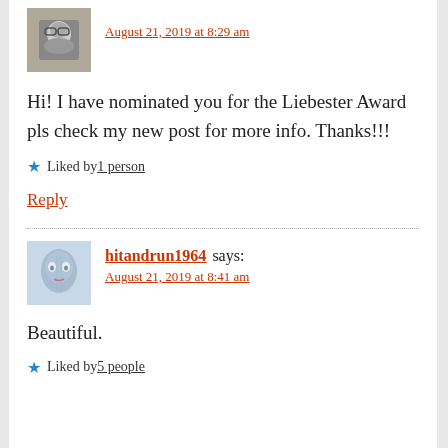[Figure (photo): Black and white avatar photo of a man with glasses]
August 21, 2019 at 8:29 am
Hi! I have nominated you for the Liebester Award pls check my new post for more info. Thanks!!!
★ Liked by 1 person
Reply
[Figure (photo): Illustrated/painted avatar of a face in blue tones]
hitandrun1964 says:
August 21, 2019 at 8:41 am
Beautiful.
★ Liked by 5 people